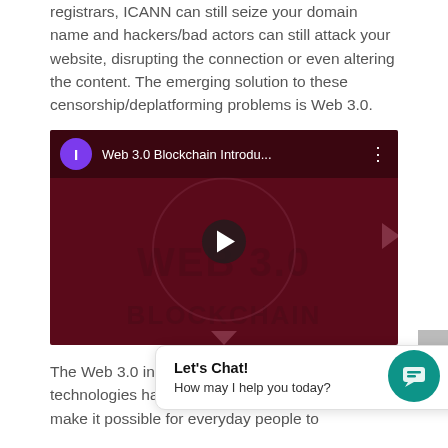registrars, ICANN can still seize your domain name and hackers/bad actors can still attack your website, disrupting the connection or even altering the content. The emerging solution to these censorship/deplatforming problems is Web 3.0.
[Figure (screenshot): Embedded YouTube video thumbnail titled 'Web 3.0 Blockchain Introdu...' with dark red background showing 'WEB 3.0 BLOCKCHAIN' text and a play button in the center.]
The Web 3.0 initia... res... but several new technologies have already started to emerge that make it possible for everyday people to